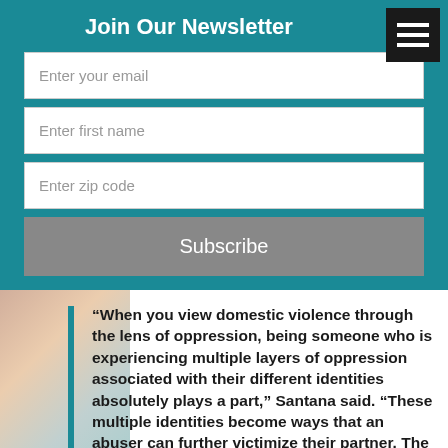Join Our Newsletter
[Figure (screenshot): Newsletter signup form with fields for email, first name, zip code, and a Subscribe button on a teal background]
“When you view domestic violence through the lens of oppression, being someone who is experiencing multiple layers of oppression associated with their different identities absolutely plays a part,” Santana said. “These multiple identities become ways that an abuser can further victimize their partner. The abuser can use the tactic of outing the person to their faith community or to their family. It